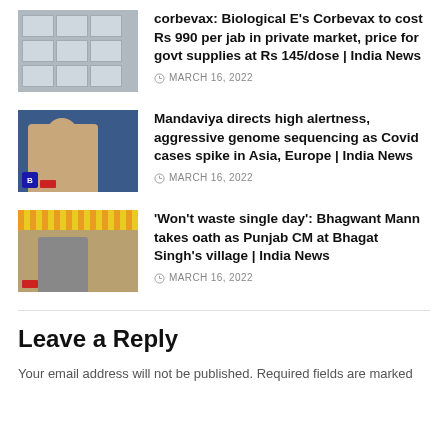[Figure (photo): Thumbnail image of vaccine/medicine boxes stacked]
corbevax: Biological E's Corbevax to cost Rs 990 per jab in private market, price for govt supplies at Rs 145/dose | India News
MARCH 16, 2022
[Figure (photo): Thumbnail image of Mandaviya, a government official, speaking]
Mandaviya directs high alertness, aggressive genome sequencing as Covid cases spike in Asia, Europe | India News
MARCH 16, 2022
[Figure (photo): Thumbnail image of Bhagwant Mann taking oath ceremony at a decorated stage]
'Won't waste single day': Bhagwant Mann takes oath as Punjab CM at Bhagat Singh's village | India News
MARCH 16, 2022
Leave a Reply
Your email address will not be published. Required fields are marked